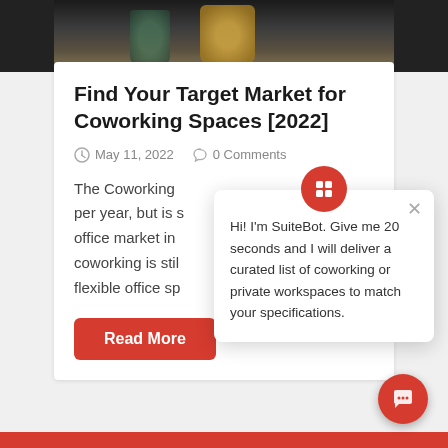[Figure (photo): Dark photo strip showing coffee mugs and workspace items on a desk, partially visible at the top of the page]
Find Your Target Market for Coworking Spaces [2022]
May 11, 2022   0 Comments
The Coworking per year, but is s office market in coworking is stil flexible office sp
[Figure (screenshot): SuiteBot chatbot popup with avatar icon. Text reads: Hi! I'm SuiteBot. Give me 20 seconds and I will deliver a curated list of coworking or private workspaces to match your specifications.]
Read More
[Figure (illustration): Red circular chat launcher button with speech bubble icon at bottom right]